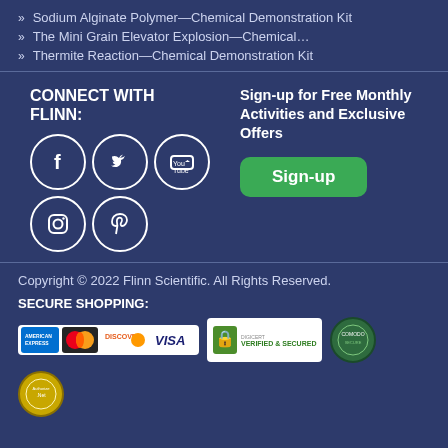Sodium Alginate Polymer—Chemical Demonstration Kit
The Mini Grain Elevator Explosion—Chemical…
Thermite Reaction—Chemical Demonstration Kit
CONNECT WITH FLINN:
[Figure (infographic): Social media icons: Facebook, Twitter, YouTube, Instagram, Pinterest in white circles on dark blue background]
Sign-up for Free Monthly Activities and Exclusive Offers
Sign-up
Copyright © 2022 Flinn Scientific. All Rights Reserved.
SECURE SHOPPING:
[Figure (infographic): Payment badges: American Express, MasterCard, Discover, Visa cards; DigiCert Verified & Secured badge; two security seal badges]